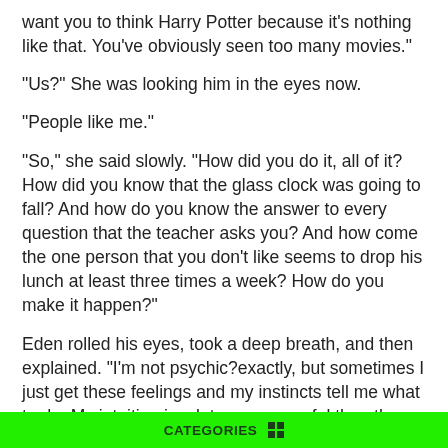want you to think Harry Potter because it’s nothing like that. You’ve obviously seen too many movies.”
“Us?” She was looking him in the eyes now.
“People like me.”
“So,” she said slowly. “How did you do it, all of it? How did you know that the glass clock was going to fall? And how do you know the answer to every question that the teacher asks you? And how come the one person that you don’t like seems to drop his lunch at least three times a week? How do you make it happen?”
Eden rolled his eyes, took a deep breath, and then explained. “I’m not psychic?exactly, but sometimes I just get these feelings and my instincts tell me what to do. My intuition is a lot more powerful than the average person. And with Jared it’s just my negative feelings towards him. I guess you can say
CATEGORIES